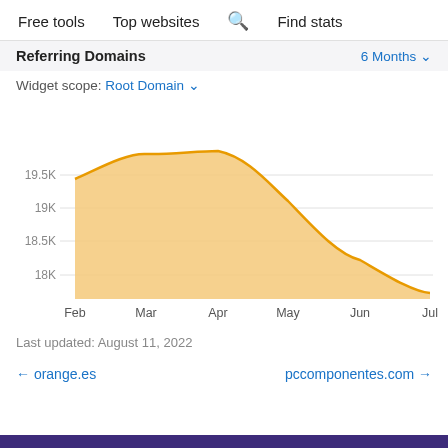Free tools   Top websites   🔍 Find stats
Referring Domains   6 Months ▾
Widget scope: Root Domain ▾
[Figure (area-chart): Referring Domains]
Last updated: August 11, 2022
← orange.es   pccomponentes.com →